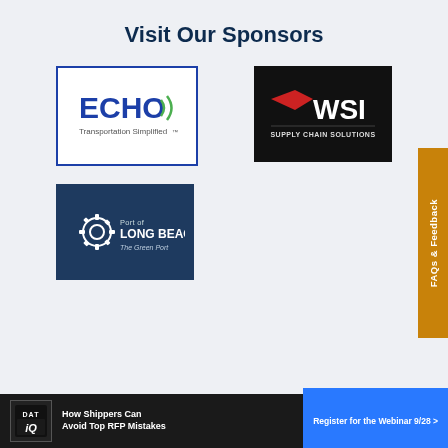Visit Our Sponsors
[Figure (logo): ECHO Transportation Simplified logo - blue border white background with ECHO in blue text and sound wave lines, text 'Transportation Simplified' below]
[Figure (logo): WSI Supply Chain Solutions logo - black background with WSI in white bold text and red arrow/flag graphic, 'SUPPLY CHAIN SOLUTIONS' in small text below]
[Figure (logo): Port of Long Beach - The Green Port logo - dark navy background with white gear/cog graphic and text 'Port of LONG BEACH The Green Port']
FAQs & Feedback
How Shippers Can Avoid Top RFP Mistakes
Register for the Webinar 9/28 >